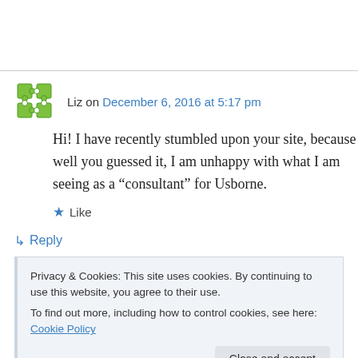Liz on December 6, 2016 at 5:17 pm
Hi! I have recently stumbled upon your site, because well you guessed it, I am unhappy with what I am seeing as a “consultant” for Usborne.
★ Like
↵ Reply
Privacy & Cookies: This site uses cookies. By continuing to use this website, you agree to their use.
To find out more, including how to control cookies, see here: Cookie Policy
Close and accept
ordered in November and the delivery date |